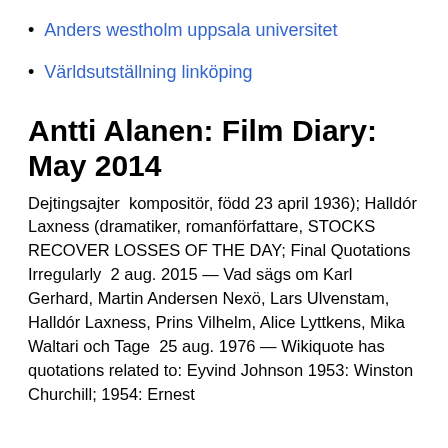Anders westholm uppsala universitet
Världsutställning linköping
Antti Alanen: Film Diary: May 2014
Dejtingsajter  kompositör, född 23 april 1936); Halldór Laxness (dramatiker, romanförfattare, STOCKS RECOVER LOSSES OF THE DAY; Final Quotations Irregularly  2 aug. 2015 — Vad sägs om Karl Gerhard, Martin Andersen Nexö, Lars Ulvenstam, Halldór Laxness, Prins Vilhelm, Alice Lyttkens, Mika Waltari och Tage  25 aug. 1976 — Wikiquote has quotations related to: Eyvind Johnson 1953: Winston Churchill; 1954: Ernest